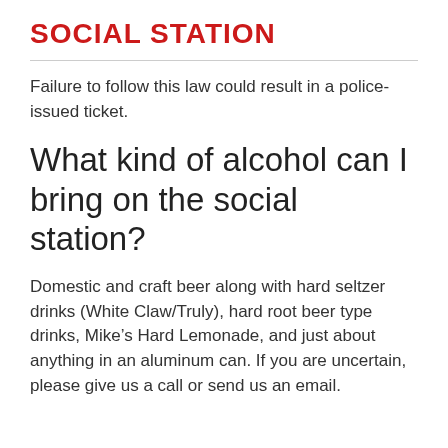SOCIAL STATION
Failure to follow this law could result in a police-issued ticket.
What kind of alcohol can I bring on the social station?
Domestic and craft beer along with hard seltzer drinks (White Claw/Truly), hard root beer type drinks, Mike’s Hard Lemonade, and just about anything in an aluminum can. If you are uncertain, please give us a call or send us an email.